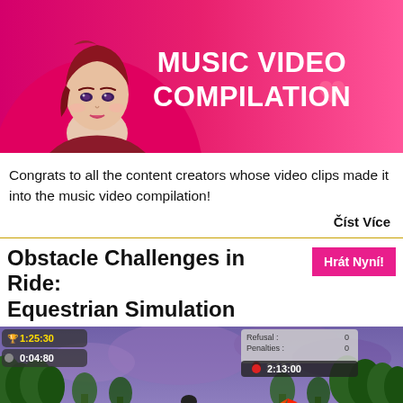[Figure (illustration): Pink/magenta banner showing an anime-style female character with short red/dark hair on the left side, and bold white text on the right reading MUSIC VIDEO COMPILATION]
Congrats to all the content creators whose video clips made it into the music video compilation!
Číst Více
Obstacle Challenges in Ride: Equestrian Simulation
Hrát Nyní!
[Figure (screenshot): Screenshot from Ride: Equestrian Simulation game showing a horse and rider in a 3D environment with trees and purple sky. HUD shows timer 1:25:30, 0:04:80, Refusal: 0, Penalties: 0, and 2:13:00. A colorful arc indicator is visible in the center.]